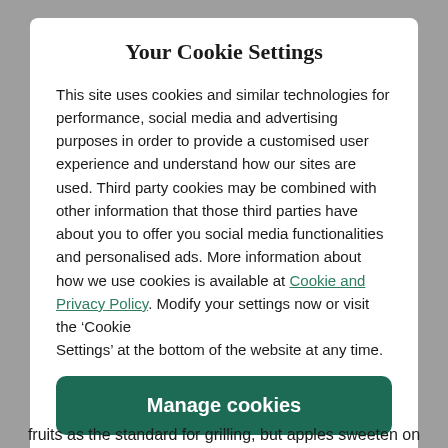Your Cookie Settings
This site uses cookies and similar technologies for performance, social media and advertising purposes in order to provide a customised user experience and understand how our sites are used. Third party cookies may be combined with other information that those third parties have about you to offer you social media functionalities and personalised ads. More information about how we use cookies is available at Cookie and Privacy Policy. Modify your settings now or visit the ‘Cookie Settings’ at the bottom of the website at any time.
Manage cookies
Yes I accept
fruits as the standard for grilling, but apples sweeten on